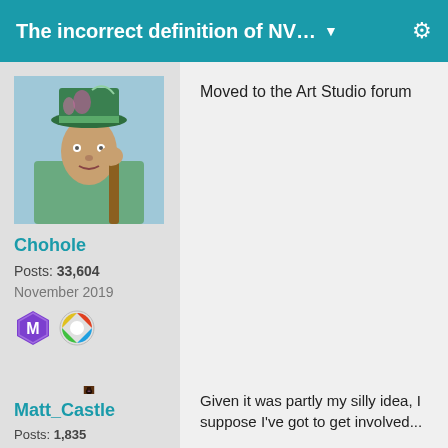The incorrect definition of NV... ▼
Moved to the Art Studio forum
Chohole
Posts: 33,604
November 2019
Given it was partly my silly idea, I suppose I've got to get involved...
I'll probably do something in the [Adjective] Vicky in [Noun] with [Different Noun] format
Matt_Castle
Posts: 1,835